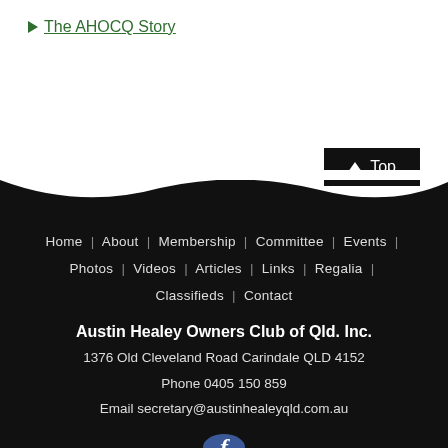The AHOCQ Story
Home | About | Membership | Committee | Events | Photos | Videos | Articles | Links | Regalia | Classifieds | Contact
Austin Healey Owners Club of Qld. Inc.
1376 Old Cleveland Road Carindale QLD 4152
Phone 0405 150 859
Email secretary@austinhealeyqld.com.au
[Figure (logo): Facebook circular logo icon in blue]
Manage your car club online with
mycco